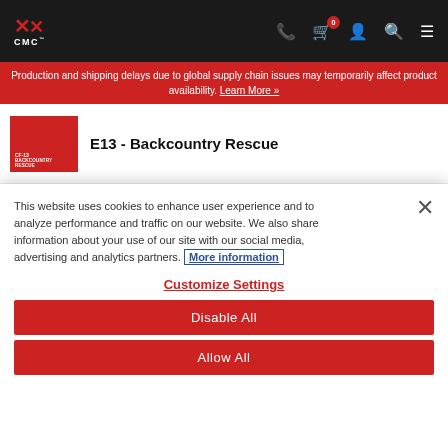CMC (logo) | navigation icons: phone, cart (0), account, search, menu
Production and shipping delays due to global supply chain issues may temporarily affect product availability. Learn More »
E13 - Backcountry Rescue
This website uses cookies to enhance user experience and to analyze performance and traffic on our website. We also share information about your use of our site with our social media, advertising and analytics partners. More information
Customize Settings
Disable All
Allow All